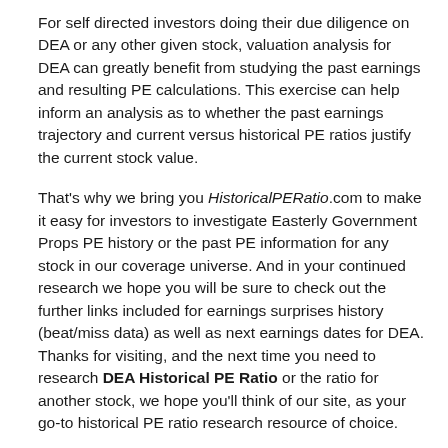For self directed investors doing their due diligence on DEA or any other given stock, valuation analysis for DEA can greatly benefit from studying the past earnings and resulting PE calculations. This exercise can help inform an analysis as to whether the past earnings trajectory and current versus historical PE ratios justify the current stock value.
That's why we bring you HistoricalPERatio.com to make it easy for investors to investigate Easterly Government Props PE history or the past PE information for any stock in our coverage universe. And in your continued research we hope you will be sure to check out the further links included for earnings surprises history (beat/miss data) as well as next earnings dates for DEA. Thanks for visiting, and the next time you need to research DEA Historical PE Ratio or the ratio for another stock, we hope you'll think of our site, as your go-to historical PE ratio research resource of choice.